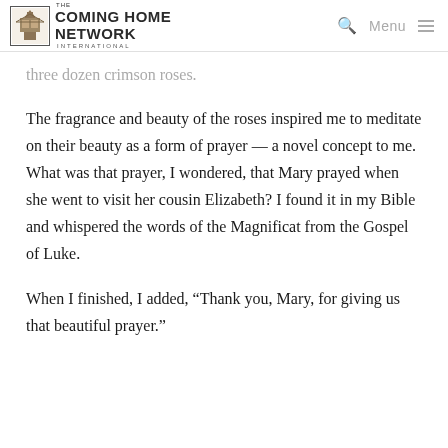The Coming Home Network International — Menu
three dozen crimson roses.
The fragrance and beauty of the roses inspired me to meditate on their beauty as a form of prayer — a novel concept to me. What was that prayer, I wondered, that Mary prayed when she went to visit her cousin Elizabeth? I found it in my Bible and whispered the words of the Magnificat from the Gospel of Luke.
When I finished, I added, “Thank you, Mary, for giving us that beautiful prayer.”